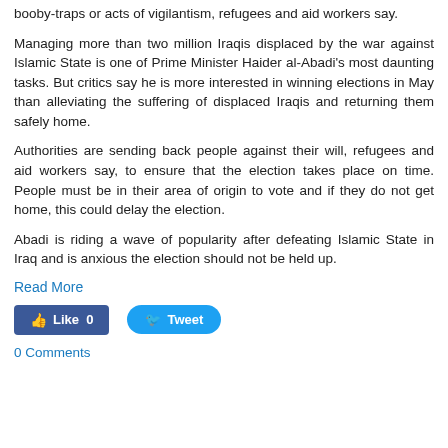booby-traps or acts of vigilantism, refugees and aid workers say.
Managing more than two million Iraqis displaced by the war against Islamic State is one of Prime Minister Haider al-Abadi's most daunting tasks. But critics say he is more interested in winning elections in May than alleviating the suffering of displaced Iraqis and returning them safely home.
Authorities are sending back people against their will, refugees and aid workers say, to ensure that the election takes place on time. People must be in their area of origin to vote and if they do not get home, this could delay the election.
Abadi is riding a wave of popularity after defeating Islamic State in Iraq and is anxious the election should not be held up.
Read More
[Figure (other): Social media buttons: Facebook Like (0) and Twitter Tweet]
0 Comments